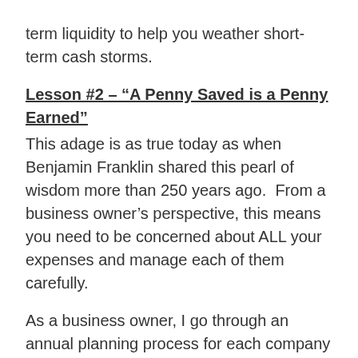term liquidity to help you weather short-term cash storms.
Lesson #2 – “A Penny Saved is a Penny Earned”
This adage is as true today as when Benjamin Franklin shared this pearl of wisdom more than 250 years ago.  From a business owner’s perspective, this means you need to be concerned about ALL your expenses and manage each of them carefully.
As a business owner, I go through an annual planning process for each company that I own. During this process, I work with the leadership team to set goals and priorities for the following year, including financial and operational objectives. One part of this process involves a detailed look at every